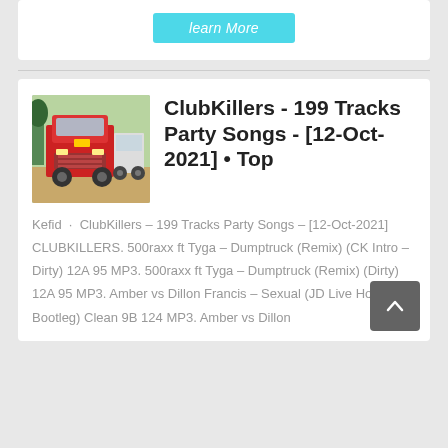[Figure (other): Learn More button (cyan/teal colored button)]
ClubKillers - 199 Tracks Party Songs - [12-Oct-2021] • Top
Kefid · ClubKillers – 199 Tracks Party Songs – [12-Oct-2021] CLUBKILLERS. 500raxx ft Tyga – Dumptruck (Remix) (CK Intro – Dirty) 12A 95 MP3. 500raxx ft Tyga – Dumptruck (Remix) (Dirty) 12A 95 MP3. Amber vs Dillon Francis – Sexual (JD Live House Bootleg) Clean 9B 124 MP3. Amber vs Dillon